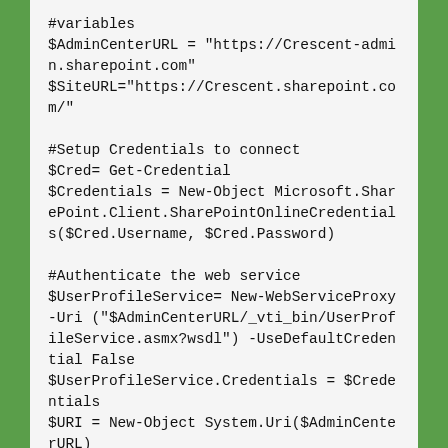#variables
$AdminCenterURL = "https://Crescent-admin.sharepoint.com"
$SiteURL="https://Crescent.sharepoint.com/"

#Setup Credentials to connect
$Cred= Get-Credential
$Credentials = New-Object Microsoft.SharePoint.Client.SharePointOnlineCredentials($Cred.Username, $Cred.Password)

#Authenticate the web service
$UserProfileService= New-WebServiceProxy -Uri ("$AdminCenterURL/_vti_bin/UserProfileService.asmx?wsdl") -UseDefaultCredential False
$UserProfileService.Credentials = $Credentials
$URI = New-Object System.Uri($AdminCenterURL)